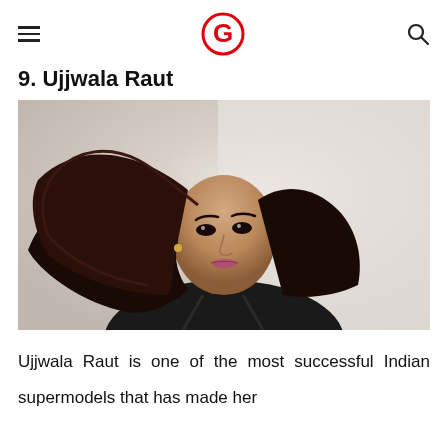G (logo)
9. Ujjwala Raut
[Figure (photo): Photo of Ujjwala Raut, an Indian supermodel, with flowing dark hair and wearing a black outfit against a light background.]
Ujjwala Raut is one of the most successful Indian supermodels that has made her